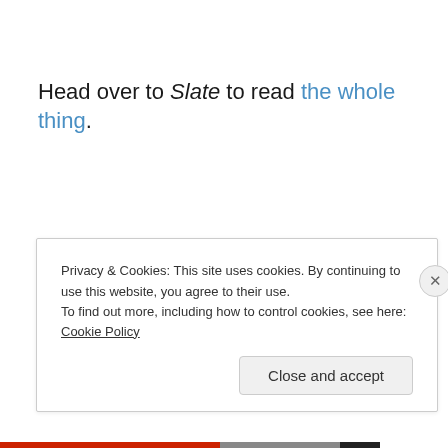Head over to Slate to read the whole thing.
Privacy & Cookies: This site uses cookies. By continuing to use this website, you agree to their use.
To find out more, including how to control cookies, see here: Cookie Policy